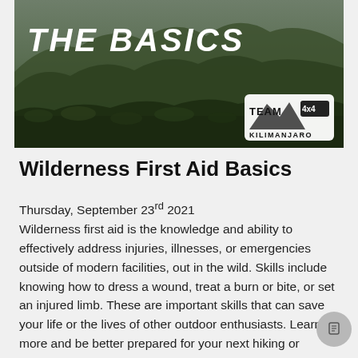[Figure (photo): Aerial/landscape photo of a desert mountain wilderness scene with dark green scrubby vegetation. Text 'THE BASICS' overlaid in large bold white italic uppercase letters. Team Kilimanjaro logo in bottom right corner.]
Wilderness First Aid Basics
Thursday, September 23rd 2021
Wilderness first aid is the knowledge and ability to effectively address injuries, illnesses, or emergencies outside of modern facilities, out in the wild. Skills include knowing how to dress a wound, treat a burn or bite, or set an injured limb. These are important skills that can save your life or the lives of other outdoor enthusiasts. Learn more and be better prepared for your next hiking or backpacking